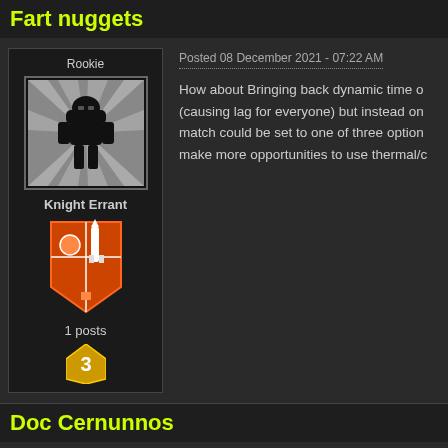Fart nuggets
Rookie
Knight Errant
1 posts
Posted 08 December 2021 - 07:22 AM
How about Bringing back dynamic time o(causing lag for everyone) but instead on match could be set to one of three option make more opportunities to use thermal/c
Doc Cernunnos
Rookie
Posted 08 December 2021 - 08:07 PM